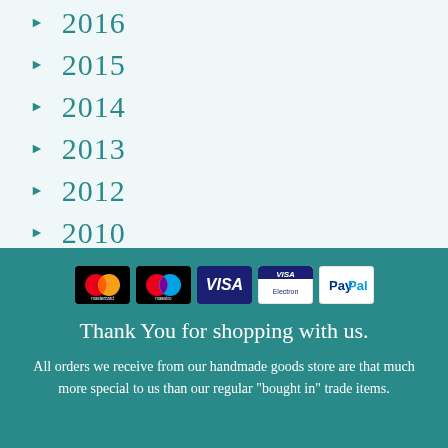2016
2015
2014
2013
2012
2010
2004
[Figure (logo): Payment method icons: Mastercard, Maestro, Visa, Visa Electron, PayPal]
Thank You for shopping with us.
All orders we receive from our handmade goods store are that much more special to us than our regular "bought in" trade items.